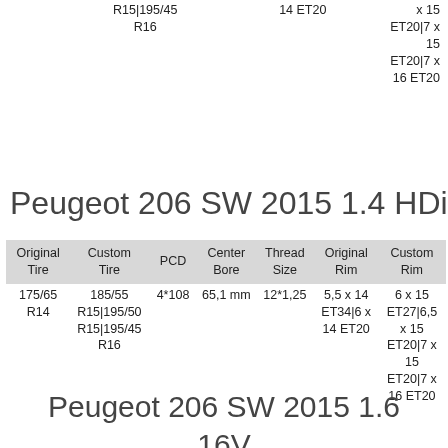| Original Tire | Custom Tire | PCD | Center Bore | Thread Size | Original Rim | Custom Rim |
| --- | --- | --- | --- | --- | --- | --- |
|  | R15|195/45
R16 |  | 14 ET20 | x 15
ET20|7 x 15
ET20|7 x
16 ET20 |
Peugeot 206 SW 2015 1.4 HDi
| Original Tire | Custom Tire | PCD | Center Bore | Thread Size | Original Rim | Custom Rim |
| --- | --- | --- | --- | --- | --- | --- |
| 175/65 R14 | 185/55 R15|195/50 R15|195/45 R16 | 4*108 | 65,1 mm | 12*1,25 | 5,5 x 14 ET34|6 x 14 ET20 | 6 x 15 ET27|6,5 x 15 ET20|7 x 15 ET20|7 x 16 ET20 |
Peugeot 206 SW 2015 1.6 16V